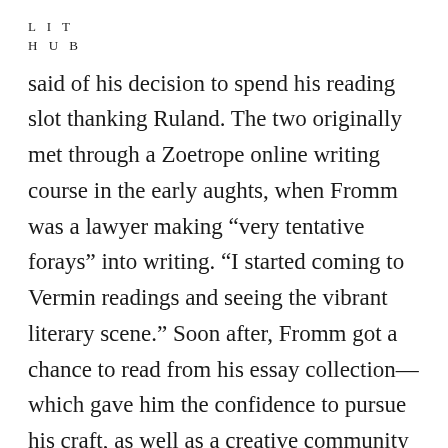L I T
H U B
said of his decision to spend his reading slot thanking Ruland. The two originally met through a Zoetrope online writing course in the early aughts, when Fromm was a lawyer making “very tentative forays” into writing. “I started coming to Vermin readings and seeing the vibrant literary scene.” Soon after, Fromm got a chance to read from his essay collection—which gave him the confidence to pursue his craft, as well as a creative community to support his work. That collection came out in 2008. Then earlier this year, Fromm published his first novel with Two Books, thanks to an